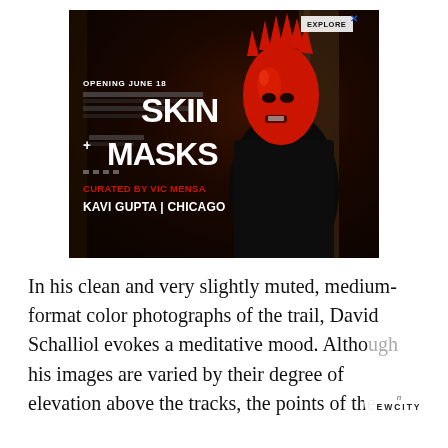[Figure (photo): Advertisement for an art exhibition. Dark background with a person wearing a red spiky mask and black suit. Text reads: OPENING JUNE 18, [title text] SKIN + MASKS, CURATED BY VIC MENSA, KAVI GUPTA | CHICAGO. An EXPLORE button is visible in the top right corner with an X close button.]
In his clean and very slightly muted, medium-format color photographs of the trail, David Schalliol evokes a meditative mood. Although his images are varied by their degree of elevation above the tracks, the points of the